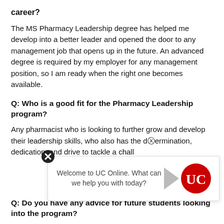career?
The MS Pharmacy Leadership degree has helped me develop into a better leader and opened the door to any management job that opens up in the future. An advanced degree is required by my employer for any management position, so I am ready when the right one becomes available.
Q: Who is a good fit for the Pharmacy Leadership program?
Any pharmacist who is looking to further grow and develop their leadership skills, who also has the determination, dedication, and drive to tackle a challenging program.
Q: Do you have any advice for future students looking into the program?